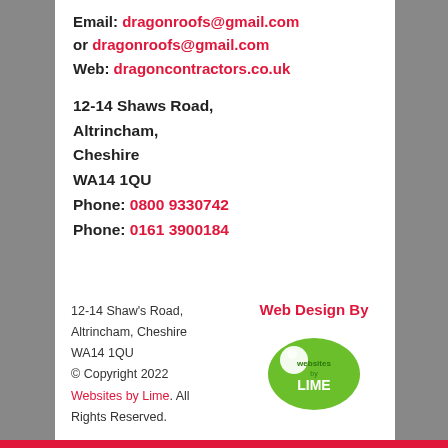Email: dragonroofs@gmail.com or dragonroofs@gmail.com
Web: dragoncontractors.co.uk
12-14 Shaws Road,
Altrincham,
Cheshire
WA14 1QU
Phone: 0800 9330742
Phone: 0161 3900184
12-14 Shaw's Road, Altrincham, Cheshire WA14 1QU
© Copyright 2022 Websites by Lime. All Rights Reserved.
[Figure (logo): Websites by Lime green circular logo with text 'websites by LIME']